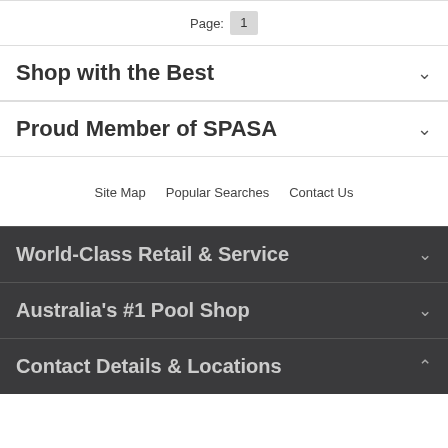Page: 1
Shop with the Best
Proud Member of SPASA
Site Map   Popular Searches   Contact Us
World-Class Retail & Service
Australia's #1 Pool Shop
Contact Details & Locations